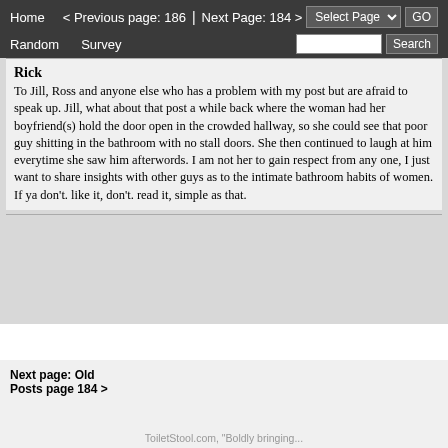Home   < Previous page: 186  |  Next Page: 184 >   Random   Survey   Select Page  GO   Search
Rick
To Jill, Ross and anyone else who has a problem with my post but are afraid to speak up. Jill, what about that post a while back where the woman had her boyfriend(s) hold the door open in the crowded hallway, so she could see that poor guy shitting in the bathroom with no stall doors. She then continued to laugh at him everytime she saw him afterwords. I am not her to gain respect from any one, I just want to share insights with other guys as to the intimate bathroom habits of women. If ya don't. like it, don't. read it, simple as that.
Next page: Old Posts page 184 >   ToiletStool.com, "Boldly bringing..."